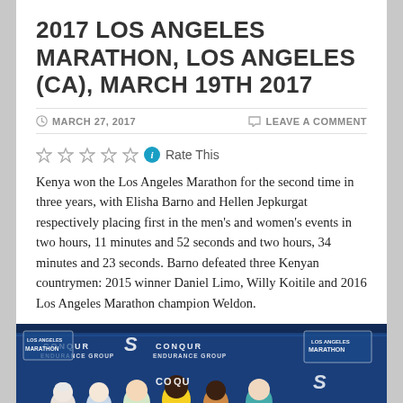2017 LOS ANGELES MARATHON, LOS ANGELES (CA), MARCH 19TH 2017
MARCH 27, 2017   LEAVE A COMMENT
Rate This
Kenya won the Los Angeles Marathon for the second time in three years, with Elisha Barno and Hellen Jepkurgat respectively placing first in the men's and women's events in two hours, 11 minutes and 52 seconds and two hours, 34 minutes and 23 seconds. Barno defeated three Kenyan countrymen: 2015 winner Daniel Limo, Willy Koitile and 2016 Los Angeles Marathon champion Weldon.
[Figure (photo): Group photo of marathon winners and officials standing in front of a blue backdrop with CONQUR ENDURANCE GROUP and LOS ANGELES MARATHON logos and Skechers branding.]